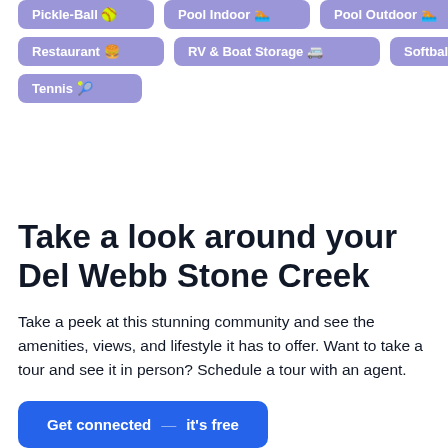Pickle-Ball 🥎
Pool Indoor 🏊
Pool Outdoor 🏊
Restaurant 🍔
RV & Boat Storage 🚐
Softball ⚾
Tennis 🎾
Take a look around your Del Webb Stone Creek
Take a peek at this stunning community and see the amenities, views, and lifestyle it has to offer. Want to take a tour and see it in person? Schedule a tour with an agent.
Get connected — it's free